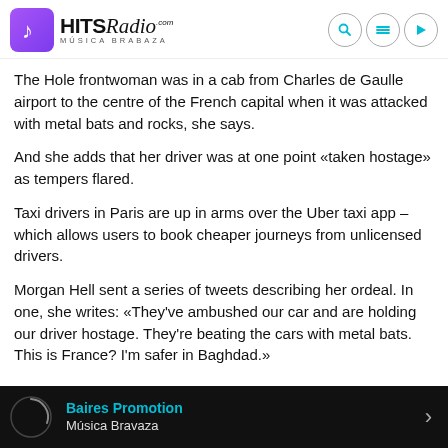HITS Radio - Música Brabaza
The Hole frontwoman was in a cab from Charles de Gaulle airport to the centre of the French capital when it was attacked with metal bats and rocks, she says.
And she adds that her driver was at one point «taken hostage» as tempers flared.
Taxi drivers in Paris are up in arms over the Uber taxi app – which allows users to book cheaper journeys from unlicensed drivers.
Morgan Hell sent a series of tweets describing her ordeal. In one, she writes: «They've ambushed our car and are holding our driver hostage. They're beating the cars with metal bats. This is France? I'm safer in Baghdad.»
Baires Promotion · Música Bravaza